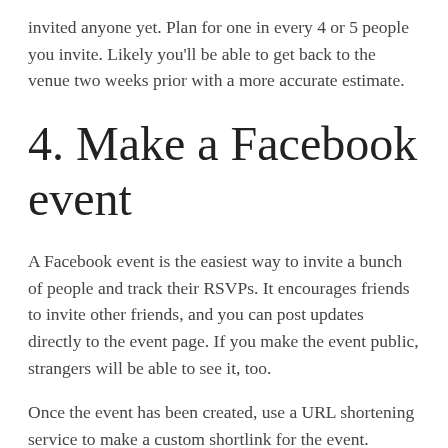invited anyone yet. Plan for one in every 4 or 5 people you invite. Likely you'll be able to get back to the venue two weeks prior with a more accurate estimate.
4. Make a Facebook event
A Facebook event is the easiest way to invite a bunch of people and track their RSVPs. It encourages friends to invite other friends, and you can post updates directly to the event page. If you make the event public, strangers will be able to see it, too.
Once the event has been created, use a URL shortening service to make a custom shortlink for the event.
For reference, here was my Facebook event: